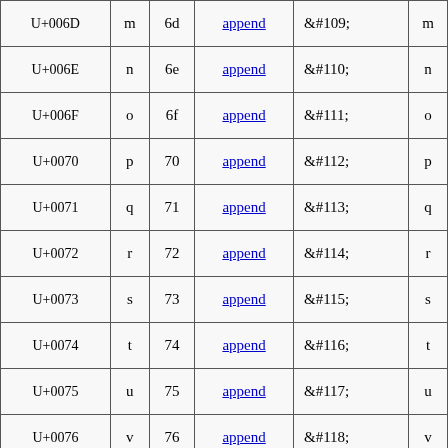| Unicode | Char | Hex | Link | HTML Entity | Render |
| --- | --- | --- | --- | --- | --- |
| U+006D | m | 6d | append | &#109; | m |
| U+006E | n | 6e | append | &#110; | n |
| U+006F | o | 6f | append | &#111; | o |
| U+0070 | p | 70 | append | &#112; | p |
| U+0071 | q | 71 | append | &#113; | q |
| U+0072 | r | 72 | append | &#114; | r |
| U+0073 | s | 73 | append | &#115; | s |
| U+0074 | t | 74 | append | &#116; | t |
| U+0075 | u | 75 | append | &#117; | u |
| U+0076 | v | 76 | append | &#118; | v |
| U+0077 | w | 77 | append | &#119; | w |
| U+0078 | x | 78 | append | &#120; | x |